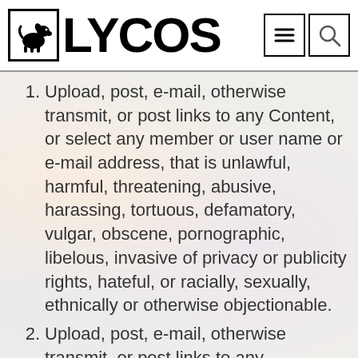[Figure (logo): Lycos logo with dog icon in a box and bold LYCOS text, plus hamburger menu and search icons in the top right]
1. Upload, post, e-mail, otherwise transmit, or post links to any Content, or select any member or user name or e-mail address, that is unlawful, harmful, threatening, abusive, harassing, tortuous, defamatory, vulgar, obscene, pornographic, libelous, invasive of privacy or publicity rights, hateful, or racially, sexually, ethnically or otherwise objectionable.
2. Upload, post, e-mail, otherwise transmit, or post links to any